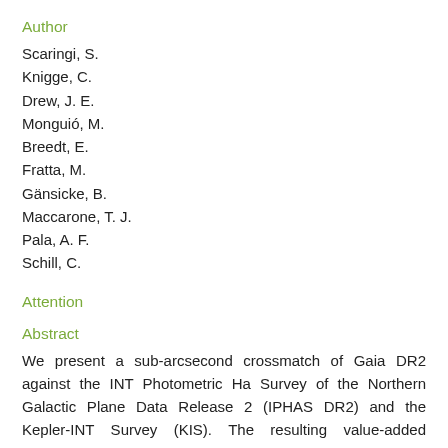Author
Scaringi, S.
Knigge, C.
Drew, J. E.
Monguió, M.
Breedt, E.
Fratta, M.
Gänsicke, B.
Maccarone, T. J.
Pala, A. F.
Schill, C.
Attention
Abstract
We present a sub-arcsecond crossmatch of Gaia DR2 against the INT Photometric Ha Survey of the Northern Galactic Plane Data Release 2 (IPHAS DR2) and the Kepler-INT Survey (KIS). The resulting value-added catalogues (VACs) provide additional precise photometry to the Gaia photometry (r, i, and Ha for IPHAS, with additional U and g for KIS). In building the catalogue, proper motions given in Gaia DR2 are wound back to match the epochs of